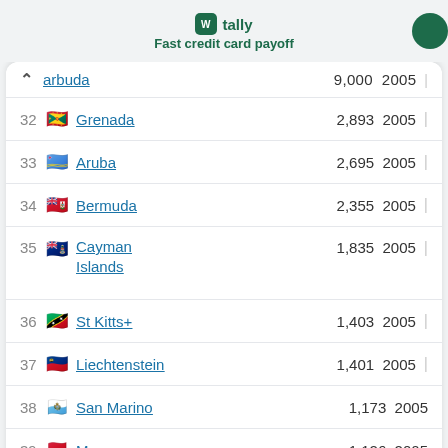tally | Fast credit card payoff
| # | Country | Value | Year |  |
| --- | --- | --- | --- | --- |
|  | ...arbuda | 9,000 | 2005 | | |
| 32 | Grenada | 2,893 | 2005 | | |
| 33 | Aruba | 2,695 | 2005 | | |
| 34 | Bermuda | 2,355 | 2005 | | |
| 35 | Cayman Islands | 1,835 | 2005 | | |
| 36 | St Kitts+ | 1,403 | 2005 | | |
| 37 | Liechtenstein | 1,401 | 2005 | | |
| 38 | San Marino | 1,173 | 2005 |  |
| 39 | Monaco | 1,126 | 2005 |  |